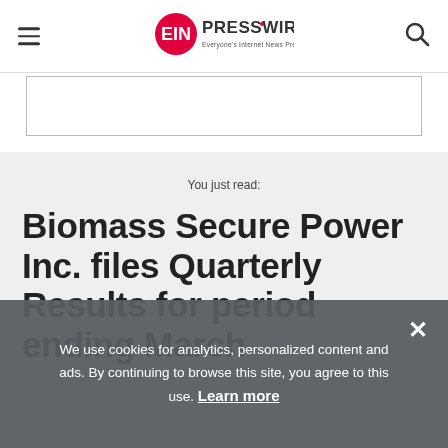EIN Presswire — Everyone's Internet News Presswire
[Figure (other): Advertisement banner placeholder box with border]
You just read:
Biomass Secure Power Inc. files Quarterly Results for period ending March
We use cookies for analytics, personalized content and ads. By continuing to browse this site, you agree to this use. Learn more